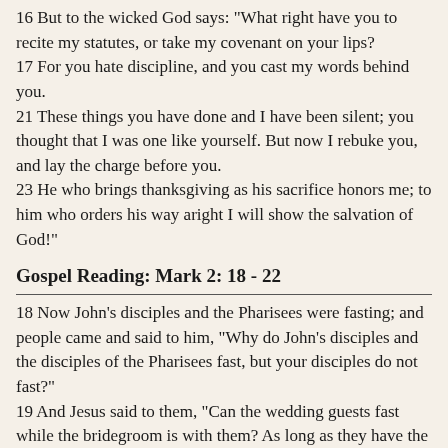16 But to the wicked God says: "What right have you to recite my statutes, or take my covenant on your lips?
17 For you hate discipline, and you cast my words behind you.
21 These things you have done and I have been silent; you thought that I was one like yourself. But now I rebuke you, and lay the charge before you.
23 He who brings thanksgiving as his sacrifice honors me; to him who orders his way aright I will show the salvation of God!"
Gospel Reading: Mark 2: 18 - 22
18 Now John's disciples and the Pharisees were fasting; and people came and said to him, "Why do John's disciples and the disciples of the Pharisees fast, but your disciples do not fast?"
19 And Jesus said to them, "Can the wedding guests fast while the bridegroom is with them? As long as they have the bridegroom with them, they cannot fast.
20 The days will come, when the bridegroom is taken away from them, and then they will fast in that day.
21 No one sews a piece of unshrunk cloth on an old garment; if he does, the patch tears away from it, the new from the old, and a worse tear is made.